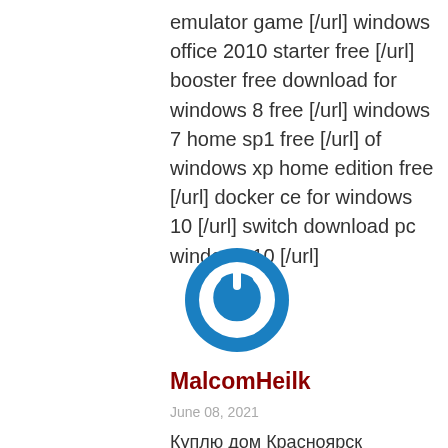emulator game [/url] windows office 2010 starter free [/url] booster free download for windows 8 free [/url] windows 7 home sp1 free [/url] of windows xp home edition free [/url] docker ce for windows 10 [/url] switch download pc windows 10 [/url]
[Figure (logo): Round blue power button icon/avatar]
MalcomHeilk
June 08, 2021
Куплю дом Красноярск
[Figure (logo): Partial round blue avatar icon at bottom]